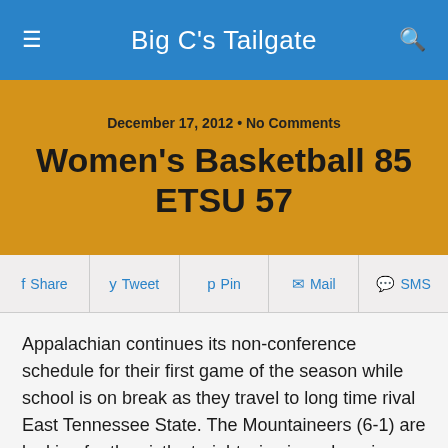Big C's Tailgate
December 17, 2012 • No Comments
Women's Basketball 85 ETSU 57
Share  Tweet  Pin  Mail  SMS
Appalachian continues its non-conference schedule for their first game of the season while school is on break as they travel to long time rival East Tennessee State. The Mountaineers (6-1) are looking for the sixth straight win since dropping their road opener at Virginia Tech by three points. Appalachian has won three straight games in the series, most recently a